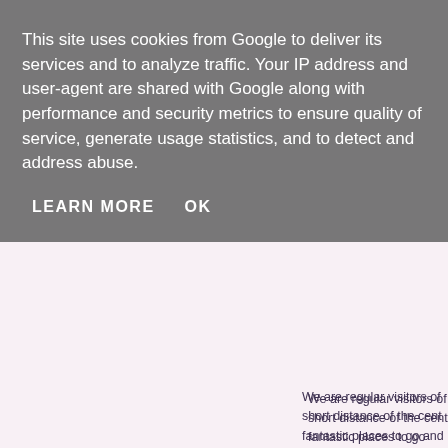This site uses cookies from Google to deliver its services and to analyze traffic. Your IP address and user-agent are shared with Google along with performance and security metrics to ensure quality of service, generate usage statistics, and to detect and address abuse.
LEARN MORE   OK
We are regular visitors of short distance of the cent fantastic places to go and after our last working day
We had seen Hearth of th Outside was beginning to popped up at cake club a
We had a ganders at thei make him as giddy as a li sample the 'delicacy' if it a fashioned by Heston's ow